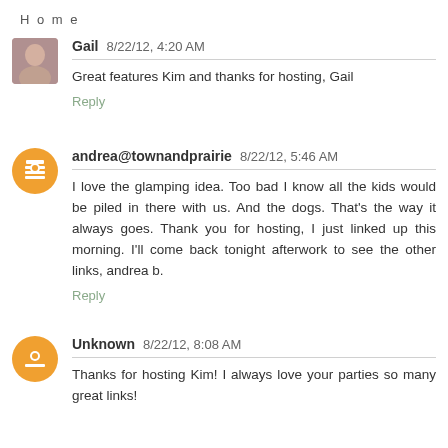Home
Gail 8/22/12, 4:20 AM
Great features Kim and thanks for hosting, Gail
Reply
andrea@townandprairie 8/22/12, 5:46 AM
I love the glamping idea. Too bad I know all the kids would be piled in there with us. And the dogs. That's the way it always goes. Thank you for hosting, I just linked up this morning. I'll come back tonight afterwork to see the other links, andrea b.
Reply
Unknown 8/22/12, 8:08 AM
Thanks for hosting Kim! I always love your parties so many great links!